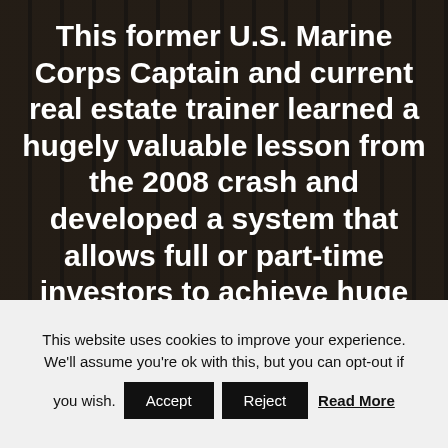This former U.S. Marine Corps Captain and current real estate trainer learned a hugely valuable lesson from the 2008 crash and developed a system that allows full or part-time investors to achieve huge success in ANY economy. If the economy goes south, it's actually even better...
This website uses cookies to improve your experience. We'll assume you're ok with this, but you can opt-out if you wish. Accept Reject Read More